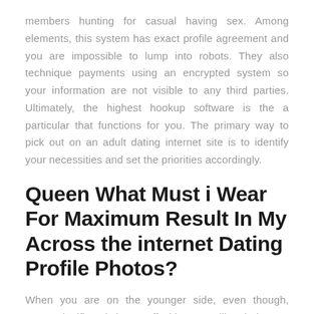members hunting for casual having sex. Among elements, this system has exact profile agreement and you are impossible to lump into robots. They also technique payments using an encrypted system so your information are not visible to any third parties. Ultimately, the highest hookup software is the a particular that functions for you. The primary way to pick out on an adult dating internet site is to identify your necessities and set the priorities accordingly.
Queen What Must i Wear For Maximum Result In My Across the internet Dating Profile Photos?
When you are on the younger side, even though, you're significantly better off with an app like Tinder or